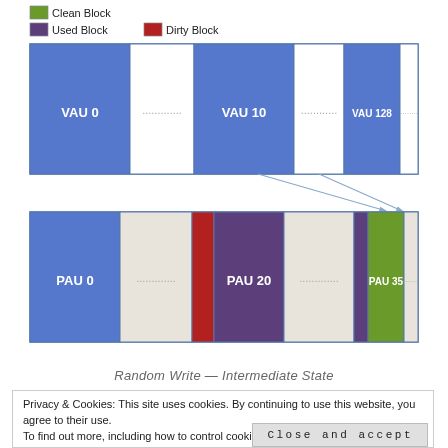[Figure (schematic): Diagram showing Random Write Intermediate State. Top row: VAU blocks (VAU 0 in blue, dotted separator, VAU 10 in blue, dotted separator, VAU 128 in blue, dotted) with white unused blocks. Two arrows point downward to bottom row: PAU blocks (PAU 0 in blue, dotted separator, PAU 20 preceded by red dirty block and purple used block, dotted separator, PAU 35 in olive/green, dotted) with beige/light grey unused blocks. Legend shows Clean Block (green), Used Block (purple), Dirty Block (red).]
Random Write — Intermediate State
Privacy & Cookies: This site uses cookies. By continuing to use this website, you agree to their use.
To find out more, including how to control cookies, see here: Cookie Policy